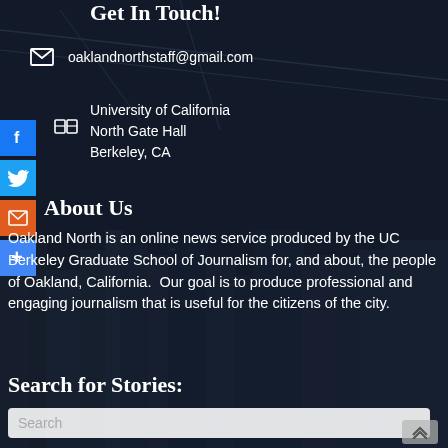Get In Touch!
oaklandnorthstaff@gmail.com
University of California
North Gate Hall
Berkeley, CA
About Us
Oakland North is an online news service produced by the UC Berkeley Graduate School of Journalism for, and about, the people of Oakland, California. Our goal is to produce professional and engaging journalism that is useful for the citizens of the city.
Search for Stories:
Search